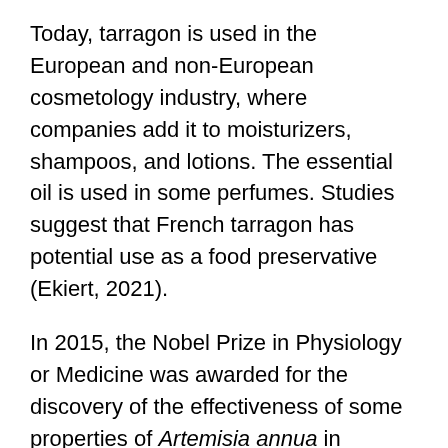Today, tarragon is used in the European and non-European cosmetology industry, where companies add it to moisturizers, shampoos, and lotions. The essential oil is used in some perfumes. Studies suggest that French tarragon has potential use as a food preservative (Ekiert, 2021).
In 2015, the Nobel Prize in Physiology or Medicine was awarded for the discovery of the effectiveness of some properties of Artemisia annua in treating malaria. Since then, there has been renewed interest in researching the medicinal properties of A. dracunculus as well. The authors of a recent report say, “Contemporary research on the biological activity of the above-mentioned raw materials (leaves and essential oil of French tarragon) has proven new findings in their activity–antibacterial, antifungal, analgesic, antioxidant effects, as well as cytogenetic and